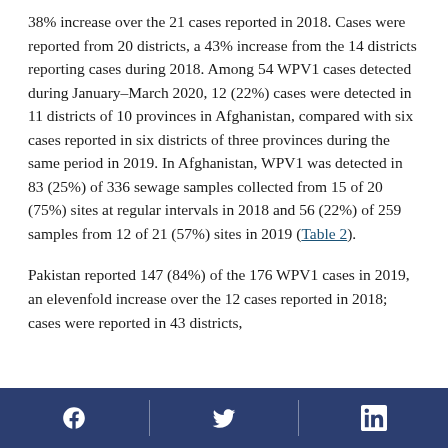38% increase over the 21 cases reported in 2018. Cases were reported from 20 districts, a 43% increase from the 14 districts reporting cases during 2018. Among 54 WPV1 cases detected during January–March 2020, 12 (22%) cases were detected in 11 districts of 10 provinces in Afghanistan, compared with six cases reported in six districts of three provinces during the same period in 2019. In Afghanistan, WPV1 was detected in 83 (25%) of 336 sewage samples collected from 15 of 20 (75%) sites at regular intervals in 2018 and 56 (22%) of 259 samples from 12 of 21 (57%) sites in 2019 (Table 2).
Pakistan reported 147 (84%) of the 176 WPV1 cases in 2019, an elevenfold increase over the 12 cases reported in 2018; cases were reported in 43 districts,
Social media icons: Facebook, Twitter, LinkedIn